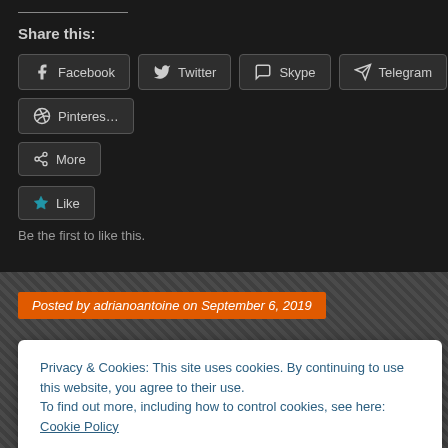Share this:
Facebook
Twitter
Skype
Telegram
Pinterest
More
Like
Be the first to like this.
Posted by adrianoantoine on September 6, 2019
Privacy & Cookies: This site uses cookies. By continuing to use this website, you agree to their use.
To find out more, including how to control cookies, see here: Cookie Policy
Close and accept